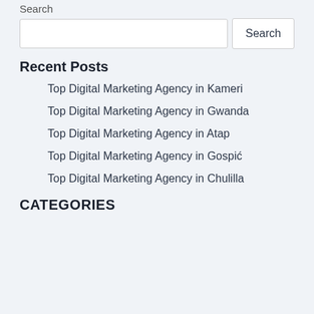Search
Search input and button
Recent Posts
Top Digital Marketing Agency in Kameri
Top Digital Marketing Agency in Gwanda
Top Digital Marketing Agency in Atap
Top Digital Marketing Agency in Gospić
Top Digital Marketing Agency in Chulilla
CATEGORIES